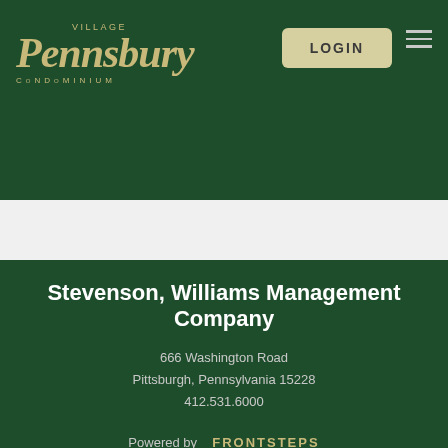[Figure (logo): Pennsbury Village Condominium logo in gold/tan color on dark green background]
LOGIN
Stevenson, Williams Management Company
666 Washington Road
Pittsburgh, Pennsylvania 15228
412.531.6000
Powered by FRONTSTEPS